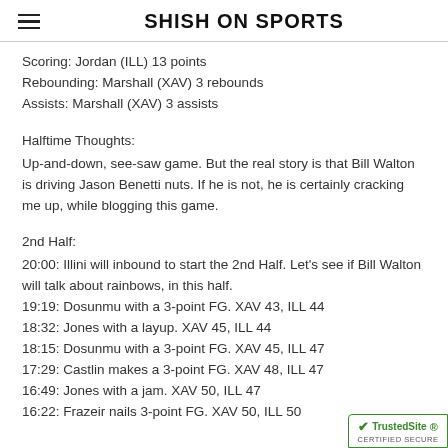SHISH ON SPORTS
Scoring: Jordan (ILL) 13 points
Rebounding: Marshall (XAV) 3 rebounds
Assists: Marshall (XAV) 3 assists
Halftime Thoughts:
Up-and-down, see-saw game. But the real story is that Bill Walton is driving Jason Benetti nuts. If he is not, he is certainly cracking me up, while blogging this game.
2nd Half:
20:00: Illini will inbound to start the 2nd Half. Let's see if Bill Walton will talk about rainbows, in this half.
19:19: Dosunmu with a 3-point FG. XAV 43, ILL 44
18:32: Jones with a layup. XAV 45, ILL 44
18:15: Dosunmu with a 3-point FG. XAV 45, ILL 47
17:29: Castlin makes a 3-point FG. XAV 48, ILL 47
16:49: Jones with a jam. XAV 50, ILL 47
16:22: Frazeir nails 3-point FG. XAV 50, ILL 50